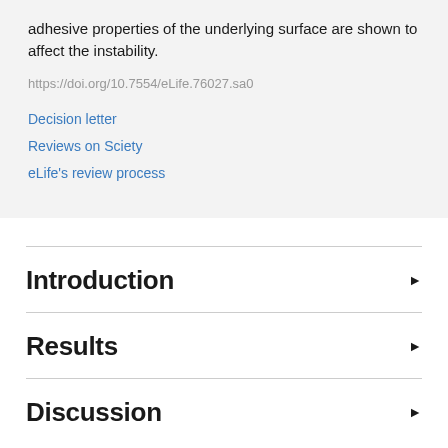adhesive properties of the underlying surface are shown to affect the instability.
https://doi.org/10.7554/eLife.76027.sa0
Decision letter
Reviews on Sciety
eLife's review process
Introduction
Results
Discussion